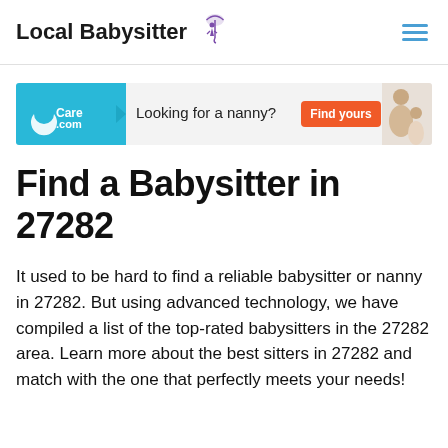Local Babysitter
[Figure (other): Care.com advertisement banner: 'Looking for a nanny? Find yours' with orange button and photo of woman and child]
Find a Babysitter in 27282
It used to be hard to find a reliable babysitter or nanny in 27282. But using advanced technology, we have compiled a list of the top-rated babysitters in the 27282 area. Learn more about the best sitters in 27282 and match with the one that perfectly meets your needs!